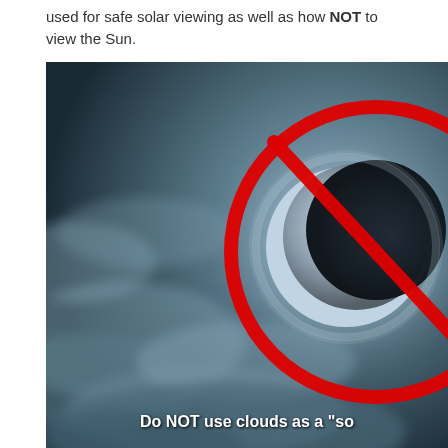used for safe solar viewing as well as how NOT to view the Sun.
[Figure (photo): A solar eclipse partially covered by clouds, with a large red prohibition circle-and-slash symbol overlaid on the image, indicating that viewing the sun through clouds is not safe. At the bottom of the image, white bold text reads: Do NOT use clouds as a 'so']